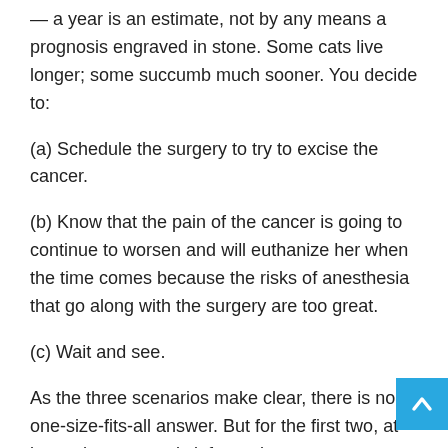— a year is an estimate, not by any means a prognosis engraved in stone. Some cats live longer; some succumb much sooner. You decide to:
(a) Schedule the surgery to try to excise the cancer.
(b) Know that the pain of the cancer is going to continue to worsen and will euthanize her when the time comes because the risks of anesthesia that go along with the surgery are too great.
(c) Wait and see.
As the three scenarios make clear, there is no one-size-fits-all answer. But for the first two, at least, there are truly informed ways to narrow the options. One of them has to do with an understanding of anesthesia in old cats.